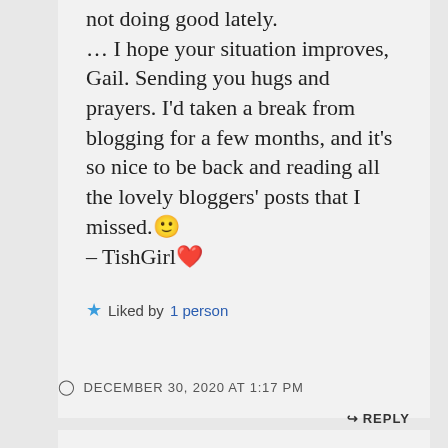not doing good lately. … I hope your situation improves, Gail. Sending you hugs and prayers. I'd taken a break from blogging for a few months, and it's so nice to be back and reading all the lovely bloggers' posts that I missed. 🙂 – TishGirl ❤
★ Liked by 1 person
DECEMBER 30, 2020 AT 1:17 PM
↳ REPLY